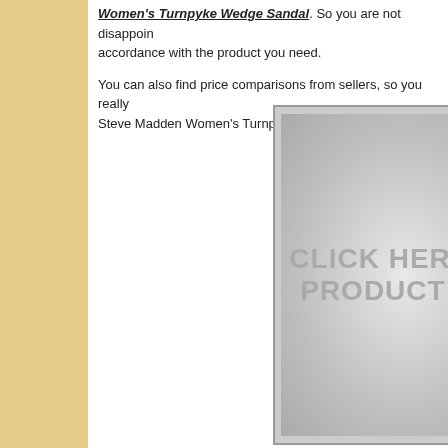Women's Turnpyke Wedge Sandal. So you are not disappoin... accordance with the product you need.

You can also find price comparisons from sellers, so you really... Steve Madden Women's Turnpyke Wedge Sandal.
[Figure (other): Placeholder product image with text 'CLICK HERE TO PRODUCT IMA' on a gradient grey background with a border.]